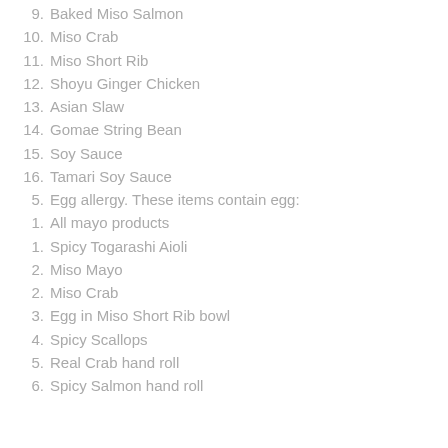9. Baked Miso Salmon
10. Miso Crab
11. Miso Short Rib
12. Shoyu Ginger Chicken
13. Asian Slaw
14. Gomae String Bean
15. Soy Sauce
16. Tamari Soy Sauce
5. Egg allergy. These items contain egg:
1. All mayo products
1. Spicy Togarashi Aioli
2. Miso Mayo
2. Miso Crab
3. Egg in Miso Short Rib bowl
4. Spicy Scallops
5. Real Crab hand roll
6. Spicy Salmon hand roll